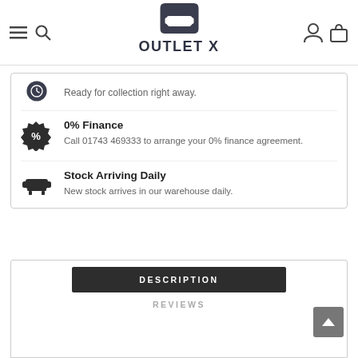OUTLET X — navigation header with hamburger menu, search, logo, user and cart icons
Ready for collection right away.
0% Finance
Call 01743 469333 to arrange your 0% finance agreement.
Stock Arriving Daily
New stock arrives in our warehouse daily.
DESCRIPTION
REVIEWS